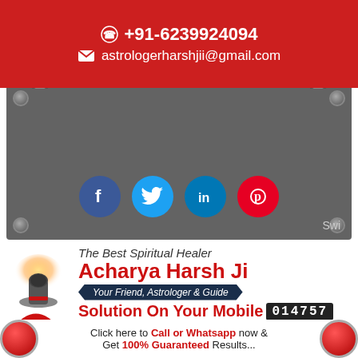+91-6239924094 | astrologerharshjii@gmail.com
[Figure (infographic): Dark grey banner panel with binder clips at top, social media icons (Facebook, Twitter, LinkedIn, Pinterest) in the center, and 'Swi' text bottom right]
[Figure (illustration): Shiva lingam icon with glowing light on the left side]
The Best Spiritual Healer
Acharya Harsh Ji
Your Friend, Astrologer & Guide
Solution On Your Mobile 014757
Click here to Call or Whatsapp now & Get 100% Guaranteed Results...